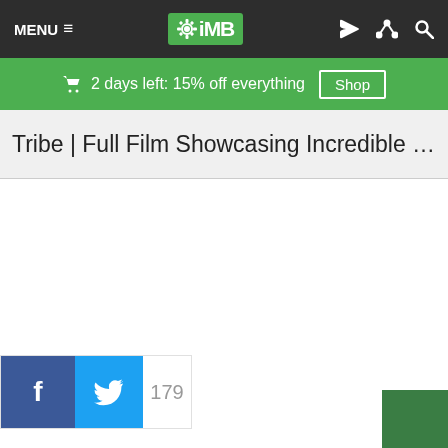MENU ☰  ⚙iMB  RSS Share Search
🛒 2 days left: 15% off everything  Shop
Tribe | Full Film Showcasing Incredible Riding F...
f  179